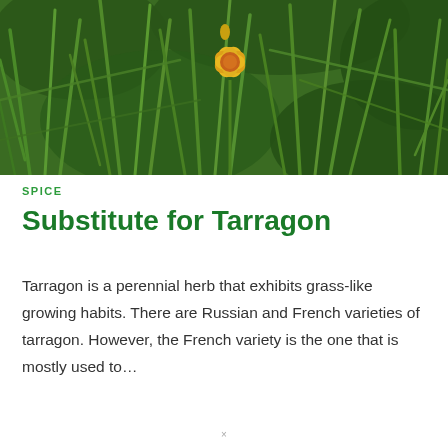[Figure (photo): Close-up photo of a tarragon herb plant with narrow green leaves and a small yellow and orange flower in the foreground, set against a dense green leafy background.]
SPICE
Substitute for Tarragon
Tarragon is a perennial herb that exhibits grass-like growing habits. There are Russian and French varieties of tarragon. However, the French variety is the one that is mostly used to…
×